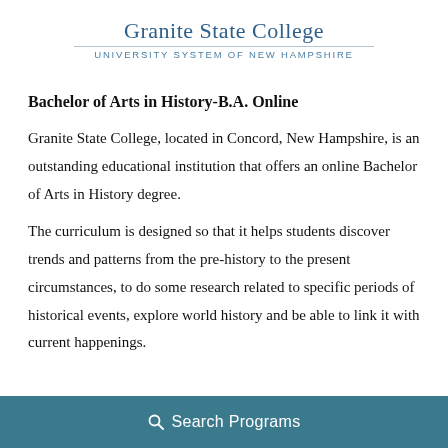Granite State College
University System of New Hampshire
Bachelor of Arts in History-B.A. Online
Granite State College, located in Concord, New Hampshire, is an outstanding educational institution that offers an online Bachelor of Arts in History degree.
The curriculum is designed so that it helps students discover trends and patterns from the pre-history to the present circumstances, to do some research related to specific periods of historical events, explore world history and be able to link it with current happenings.
Search Programs